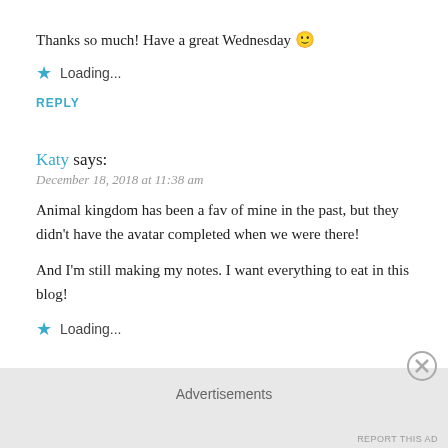Thanks so much! Have a great Wednesday 🙂
★ Loading...
REPLY
Katy says:
December 18, 2018 at 11:38 am
Animal kingdom has been a fav of mine in the past, but they didn't have the avatar completed when we were there!
And I'm still making my notes. I want everything to eat in this blog!
★ Loading...
Advertisements
REPORT THIS AD